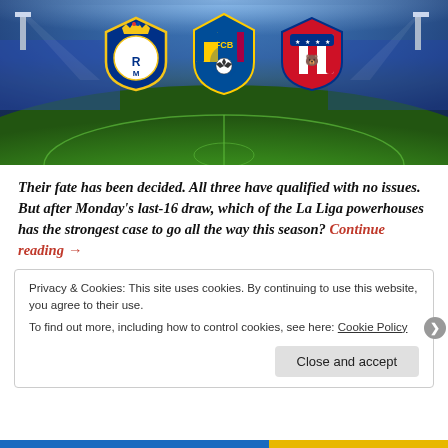[Figure (photo): Football stadium with floodlights and green pitch. Three football club crests displayed: Real Madrid (left), FC Barcelona (centre), Atletico Madrid (right).]
Their fate has been decided. All three have qualified with no issues. But after Monday's last-16 draw, which of the La Liga powerhouses has the strongest case to go all the way this season? Continue reading →
Privacy & Cookies: This site uses cookies. By continuing to use this website, you agree to their use.
To find out more, including how to control cookies, see here: Cookie Policy
Close and accept